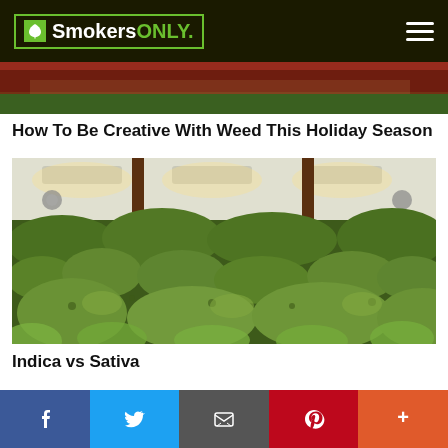Smokers ONLY.
[Figure (photo): Partial top image showing red clothing/person at top of page]
How To Be Creative With Weed This Holiday Season
[Figure (photo): Indoor cannabis grow room with dense green plants under white ceiling with grow lights]
Indica vs Sativa
[Figure (infographic): Social sharing bar with Facebook, Twitter, Email, Pinterest, and More buttons]